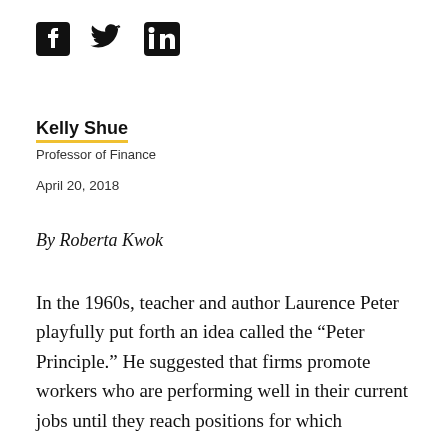[Figure (illustration): Facebook, Twitter, and LinkedIn social media icons in black]
Kelly Shue
Professor of Finance
April 20, 2018
By Roberta Kwok
In the 1960s, teacher and author Laurence Peter playfully put forth an idea called the “Peter Principle.” He suggested that firms promote workers who are performing well in their current jobs until they reach positions for which